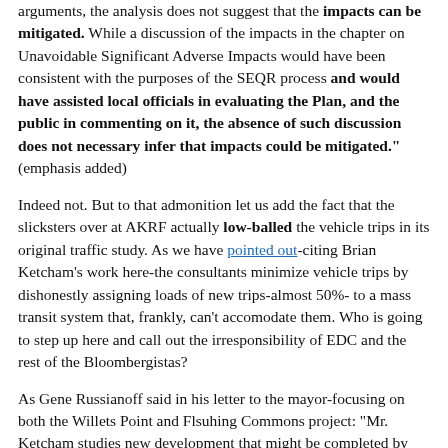arguments, the analysis does not suggest that the impacts can be mitigated. While a discussion of the impacts in the chapter on Unavoidable Significant Adverse Impacts would have been consistent with the purposes of the SEQR process and would have assisted local officials in evaluating the Plan, and the public in commenting on it, the absence of such discussion does not necessary infer that impacts could be mitigated." (emphasis added)
Indeed not. But to that admonition let us add the fact that the slicksters over at AKRF actually low-balled the vehicle trips in its original traffic study. As we have pointed out-citing Brian Ketcham's work here-the consultants minimize vehicle trips by dishonestly assigning loads of new trips-almost 50%- to a mass transit system that, frankly, can't accomodate them. Who is going to step up here and call out the irresponsibility of EDC and the rest of the Bloombergistas?
As Gene Russianoff said in his letter to the mayor-focusing on both the Willets Point and Flsuhing Commons project: "Mr. Ketcham studies new development that might be completed by 2017 as reported in the Final Generic Environmental Impact Statement (FGEIS) for the Willets...